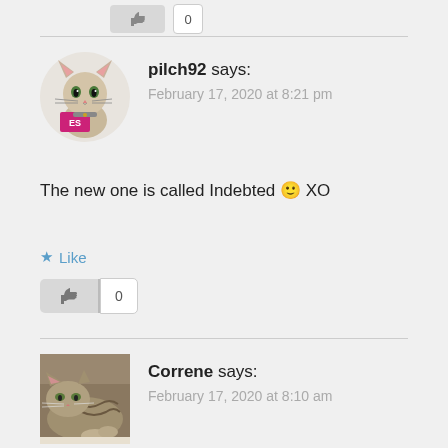[Figure (other): Thumbs up button and count badge showing 0 at top of page]
pilch92 says:
February 17, 2020 at 8:21 pm
The new one is called Indebted 🙂 XO
Like
[Figure (other): Thumbs up button with count badge showing 0]
Correne says:
February 17, 2020 at 8:10 am